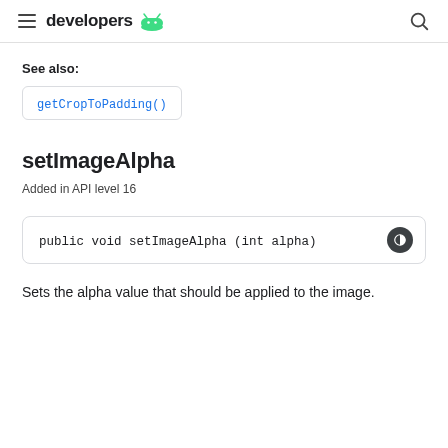developers
See also:
getCropToPadding()
setImageAlpha
Added in API level 16
public void setImageAlpha (int alpha)
Sets the alpha value that should be applied to the image.